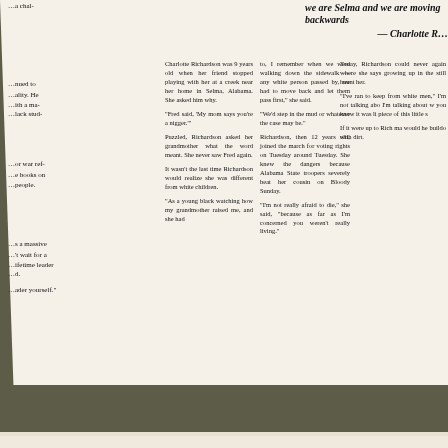[Figure (photo): Photograph of a museum or exhibition wall display showing three panels mounted on an olive/dark green wall. The panels contain text about Charlotte Richardson and civil rights history, with University of Wisconsin Eau Claire branding and QR codes. A large 'inter' text is visible on the wall between panels.]
we are Selma and we are moving backwards — Charlotte R...
Charlotte Richardson was 9 years old when her friend stopped playing with her at a creek near her home in Selma, Alabama. She asked him why.
"Fred said, 'My mom says you're a nigger.'"
Puzzled, Richardson asked her grandmother what the word meant. She never saw Fred again.
It wasn't the last time Richardson would realize she was different from white children.
"As a young black watching how my grandmother raised me, and she had to, I remember when we were walking down the sidewalk — any white person passed by, we had to move back and let them pass first," she said.
"We'd step in the mud or whatever the case may be."
Richardson, then 12 years old, joined the march for voting rights on Tuesday around Tuesday. She knew the dangers because Alabama State troopers severely beat her cousin on Bloody Sunday.
"I'm not really afraid to die," she said, "because as far as I'm concerned you weren't really living."
Today, Richardson could never again where she says growing up in the still haunt her.
"I've ran to keep from white men," I'm not talking abo I'm talking about w you know it was li piece of this little s
If it were up to Rich ma would he buildo with dirt.
University of Wisconsin
Eau Claire